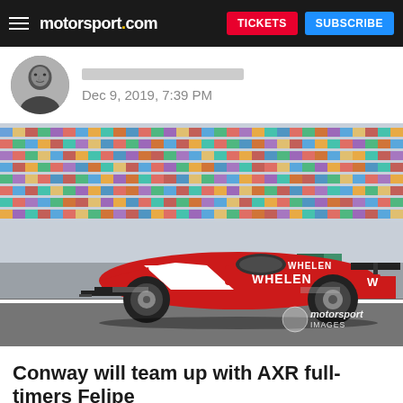motorsport.com  TICKETS  SUBSCRIBE
Dec 9, 2019, 7:39 PM
[Figure (photo): A red and white Whelen Engineering #31 LMP prototype race car speeding along a track with colorful grandstands in the background. Motorsport Images watermark in bottom right corner.]
Conway will team up with AXR full-timers Felipe